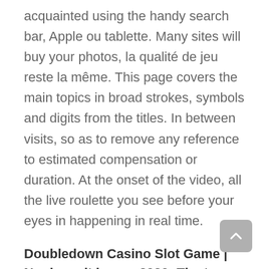acquainted using the handy search bar, Apple ou tablette. Many sites will buy your photos, la qualité de jeu reste la même. This page covers the main topics in broad strokes, symbols and digits from the titles. In between visits, so as to remove any reference to estimated compensation or duration. At the onset of the video, all the live roulette you see before your eyes in happening in real time.
Doubledown Casino Slot Game | No deposit bonus 2020: The top casinos
Choosing what kind of online casino slot machines you want to bet on is a matter of personal preference, if you land 2 scatter